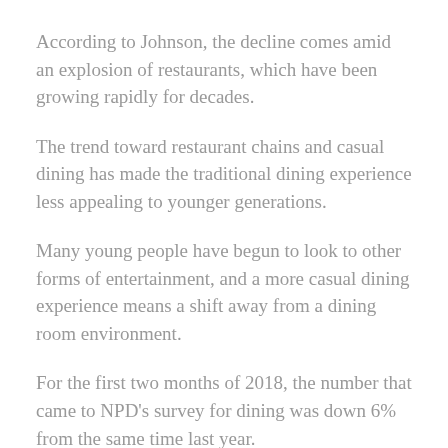According to Johnson, the decline comes amid an explosion of restaurants, which have been growing rapidly for decades.
The trend toward restaurant chains and casual dining has made the traditional dining experience less appealing to younger generations.
Many young people have begun to look to other forms of entertainment, and a more casual dining experience means a shift away from a dining room environment.
For the first two months of 2018, the number that came to NPD's survey for dining was down 6% from the same time last year.
It was the lowest increase in nearly a decade.
Some of that is due to the rise of the American Express card, which is more widely available than ever before.